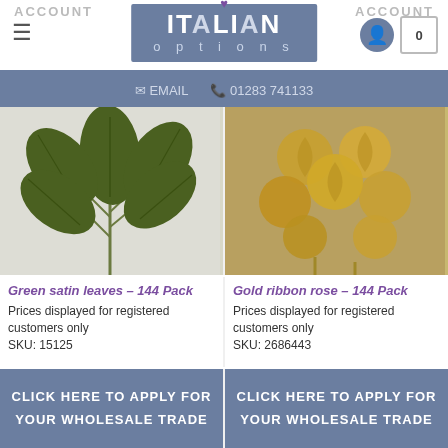ACCOUNT  |  ITALIAN options  |  ACCOUNT
EMAIL   01283 741133
[Figure (photo): Green satin leaves bunch on a light background]
[Figure (photo): Gold ribbon roses cluster on a light background]
Green satin leaves – 144 Pack
Prices displayed for registered customers only
SKU: 15125
Gold ribbon rose – 144 Pack
Prices displayed for registered customers only
SKU: 2686443
CLICK HERE TO APPLY FOR YOUR WHOLESALE TRADE
CLICK HERE TO APPLY FOR YOUR WHOLESALE TRADE